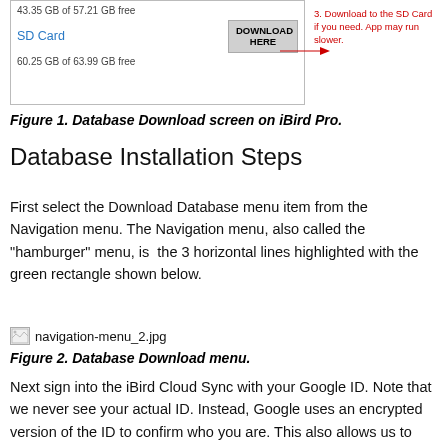[Figure (screenshot): Database Download screen showing SD Card option with DOWNLOAD HERE button and red annotation pointing to it saying '3. Download to the SD Card if you need. App may run slower.']
Figure 1. Database Download screen on iBird Pro.
Database Installation Steps
First select the Download Database menu item from the Navigation menu. The Navigation menu, also called the "hamburger" menu, is  the 3 horizontal lines highlighted with the green rectangle shown below.
[Figure (screenshot): navigation-menu_2.jpg — image showing the Database Download menu]
Figure 2. Database Download menu.
Next sign into the iBird Cloud Sync with your Google ID. Note that we never see your actual ID. Instead, Google uses an encrypted version of the ID to confirm who you are. This also allows us to save your iBird Favorites and Notes. Again, we never see your actual google ID or password.